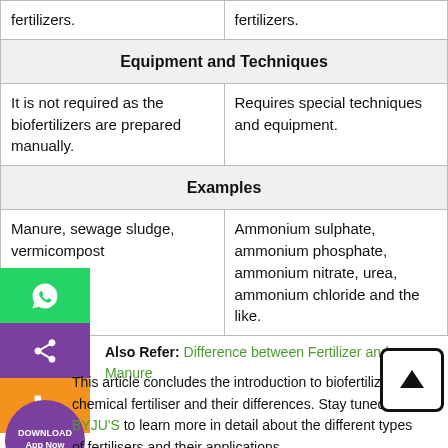| fertilizers. | fertilizers. |
| Equipment and Techniques |  |
| It is not required as the biofertilizers are prepared manually. | Requires special techniques and equipment. |
| Examples |  |
| Manure, sewage sludge, vermicompost | Ammonium sulphate, ammonium phosphate, ammonium nitrate, urea, ammonium chloride and the like. |
Also Refer: Difference between Fertilizer and Manure
This article concludes the introduction to biofertilizer and chemical fertiliser and their differences. Stay tuned to BYJU'S to learn more in detail about the different types of fertilisers and their applications.